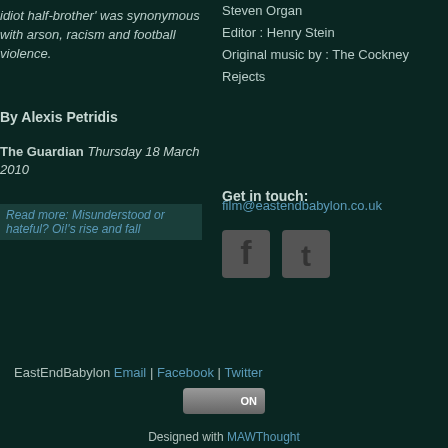idiot half-brother' was synonymous with arson, racism and football violence.
By Alexis Petridis
The Guardian Thursday 18 March 2010
Read more: Misunderstood or hateful? Oi!'s rise and fall
Steven Organ
Editor : Henry Stein
Original music by : The Cockney Rejects
Get in touch:
film@eastendbabylon.co.uk
[Figure (illustration): Facebook and Twitter social media icons in dark grey]
EastEndBabylon Email | Facebook | Twitter
ON
Designed with MAWThought